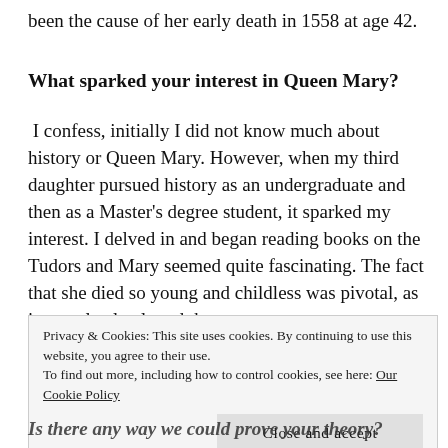been the cause of her early death in 1558 at age 42.
What sparked your interest in Queen Mary?
I confess, initially I did not know much about history or Queen Mary. However, when my third daughter pursued history as an undergraduate and then as a Master's degree student, it sparked my interest. I delved in and began reading books on the Tudors and Mary seemed quite fascinating. The fact that she died so young and childless was pivotal, as it completely altered the course
Privacy & Cookies: This site uses cookies. By continuing to use this website, you agree to their use.
To find out more, including how to control cookies, see here: Our Cookie Policy
Close and accept
Is there any way we could prove your theory?